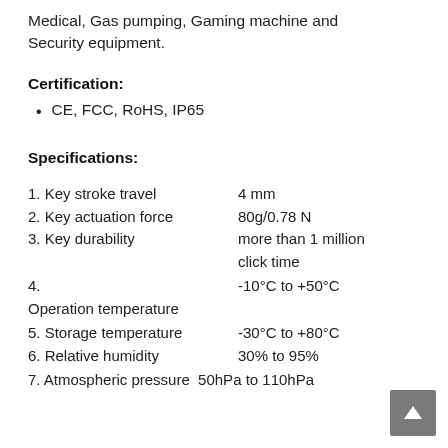Medical, Gas pumping, Gaming machine and Security equipment.
Certification:
CE, FCC, RoHS, IP65
Specifications:
1. Key stroke travel    4 mm
2. Key actuation force    80g/0.78 N
3. Key durability    more than 1 million click time
4. Operation temperature    -10°C to +50°C
5. Storage temperature    -30°C to +80°C
6. Relative humidity    30% to 95%
7. Atmospheric pressure    50hPa to 110hPa